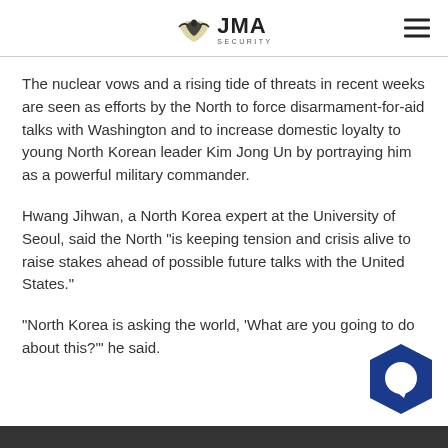JMA Security
The nuclear vows and a rising tide of threats in recent weeks are seen as efforts by the North to force disarmament-for-aid talks with Washington and to increase domestic loyalty to young North Korean leader Kim Jong Un by portraying him as a powerful military commander.
Hwang Jihwan, a North Korea expert at the University of Seoul, said the North "is keeping tension and crisis alive to raise stakes ahead of possible future talks with the United States."
"North Korea is asking the world, 'What are you going to do about this?'" he said.
[Figure (logo): Blue hexagon chat button icon in bottom right corner]